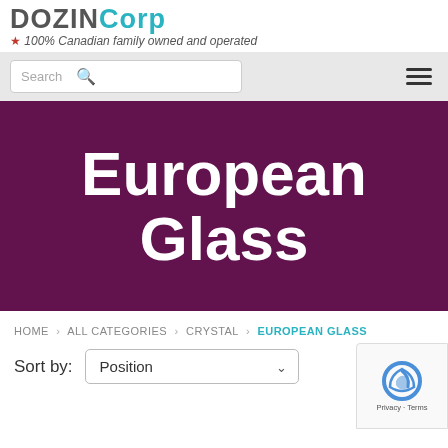Dozinc Corp · 100% Canadian family owned and operated
European Glass
HOME › ALL CATEGORIES › CRYSTAL › EUROPEAN GLASS
Sort by: Position